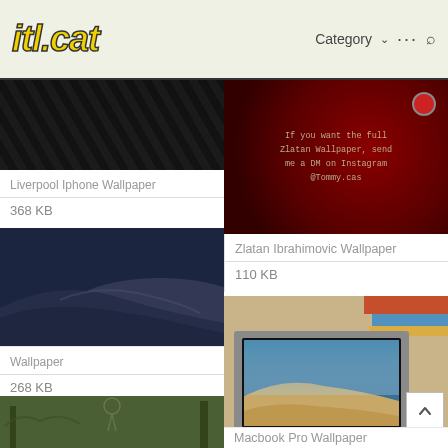itl.cat — Category ··· 🔍
[Figure (screenshot): Dark/black hexagonal pattern image thumbnail for Liverpool Iphone Wallpaper]
Liverpool Iphone Wallpaper
368 KB
[Figure (photo): Dark desert dunes at night (macOS Mojave style wallpaper)]
Wallpaper
268 KB
[Figure (photo): Trees/dreamcatcher outdoor photo thumbnail (partially visible)]
[Figure (screenshot): Dark red background with text: If you want the full Zlatan Wallpaper, send me a DM on Instagram @Tommy.cas]
Zlatan Ibrahimovic Wallpaper
110 KB
[Figure (photo): MacBook Pro laptop on a desk with books and desert wallpaper on screen, hands visible on keyboard]
Macbook Pro Wallpaper